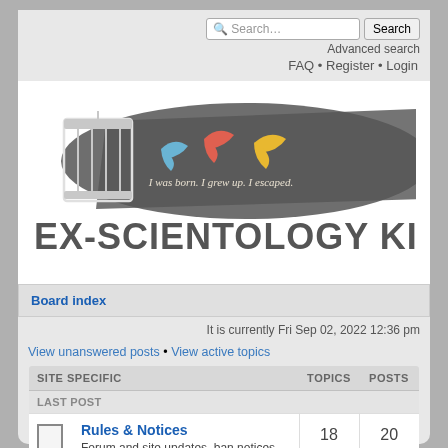[Figure (logo): Ex-Scientology Kids forum logo with birdcage and three birds (blue, red, yellow) on dark brushstroke background, text 'I was born. I grew up. I escaped.' and large text 'EX-SCIENTOLOGY KIDS']
Board index
It is currently Fri Sep 02, 2022 12:36 pm
View unanswered posts • View active topics
| SITE SPECIFIC | TOPICS | POSTS | LAST POST |
| --- | --- | --- | --- |
| Rules & Notices
Forum and site updates, ban notices, forum rules, administrator notices and stickies. READ THE RULES BEFORE YOU POST!
Moderator: doubleVee | 18 | 20 | by Grundy
Mon Feb 23, 2009
10:14 pm |
| Introductions |  |  |  |